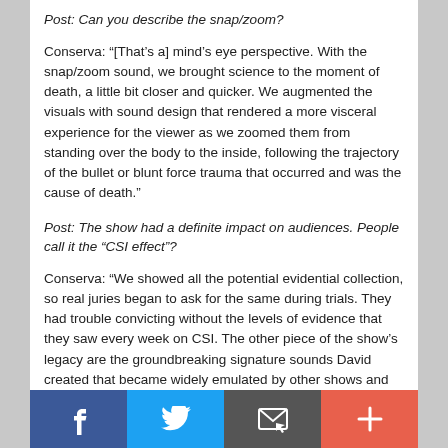Post: Can you describe the snap/zoom?
Conserva: “[That’s a] mind’s eye perspective. With the snap/zoom sound, we brought science to the moment of death, a little bit closer and quicker. We augmented the visuals with sound design that rendered a more visceral experience for the viewer as we zoomed them from standing over the body to the inside, following the trajectory of the bullet or blunt force trauma that occurred and was the cause of death.”
Post: The show had a definite impact on audiences. People call it the “CSI effect”?
Conserva: “We showed all the potential evidential collection, so real juries began to ask for the same during trials. They had trouble convicting without the levels of evidence that they saw every week on CSI. The other piece of the show’s legacy are the groundbreaking signature sounds David created that became widely emulated by other shows and set the bar for truly creative sound design.”
[Figure (infographic): Social sharing bar with four buttons: Facebook (blue), Twitter (light blue), Email/envelope (dark gray), and Plus/more (orange-red)]